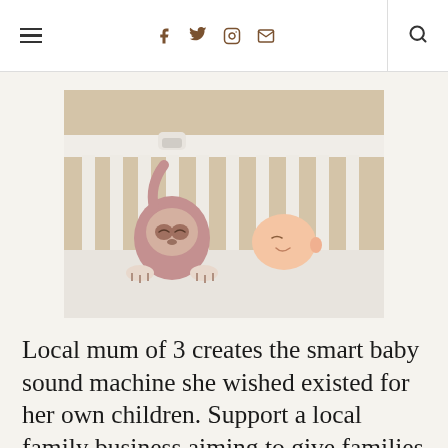≡  f  t  ⊙  ✉  |  🔍
[Figure (photo): A sloth-shaped baby sound machine toy clipped to the rail of a white wooden cot, with a sleeping baby visible through the cot bars lying on white bedding.]
Local mum of 3 creates the smart baby sound machine she wished existed for her own children. Support a local family business aiming to give families the sleep